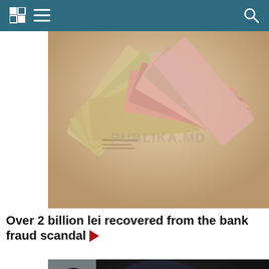PUBLIKA.MD - navigation header
[Figure (photo): Fan of Moldovan lei banknotes spread out, with PUBLIKA.MD watermark visible. Colorful currency notes showing various denominations.]
Over 2 billion lei recovered from the bank fraud scandal ▶
[Figure (photo): Law enforcement officers in black tactical gear with CNA (National Anti-Corruption Center) markings on their uniforms, entering or exiting a building.]